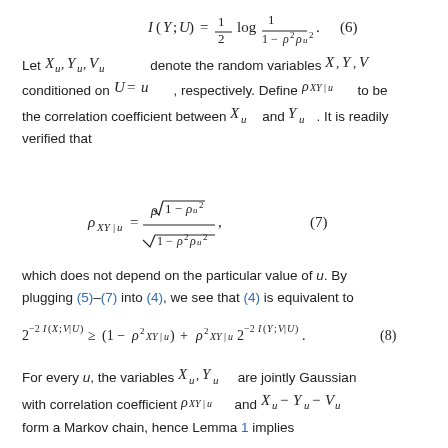Let X_u, Y_u, V_u denote the random variables X, Y, V conditioned on U = u, respectively. Define ρ_XY|u to be the correlation coefficient between X_u and Y_u. It is readily verified that
which does not depend on the particular value of u. By plugging (5)–(7) into (4), we see that (4) is equivalent to
For every u, the variables X_u, Y_u are jointly Gaussian with correlation coefficient ρ_XY|u and X_u − Y_u − V_u form a Markov chain, hence Lemma 1 implies